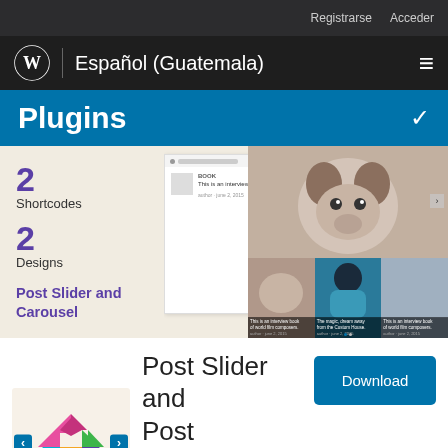Registrarse   Acceder
Español (Guatemala)
Plugins
[Figure (screenshot): WordPress plugin page screenshot showing Post Slider and Carousel plugin with demo previews including book cover slider and photo carousel grid]
2
Shortcodes
2
Designs
Post Slider and Carousel
[Figure (screenshot): Plugin icon with colorful arrow logo and navigation arrows, labeled Post Slider & Carousel]
Post Slider and Post Carousel with Post Vertical
Download